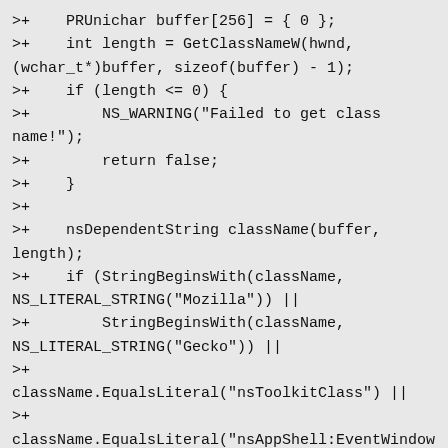>+    PRUnichar buffer[256] = { 0 };
>+    int length = GetClassNameW(hwnd, (wchar_t*)buffer, sizeof(buffer) - 1);
>+    if (length <= 0) {
>+        NS_WARNING("Failed to get class name!");
>+        return false;
>+    }
>+
>+    nsDependentString className(buffer, length);
>+    if (StringBeginsWith(className, NS_LITERAL_STRING("Mozilla")) ||
>+        StringBeginsWith(className, NS_LITERAL_STRING("Gecko")) ||
>+
>+className.EqualsLiteral("nsToolkitClass") ||
>+
className.EqualsLiteral("nsAppShell:EventWindowC
||